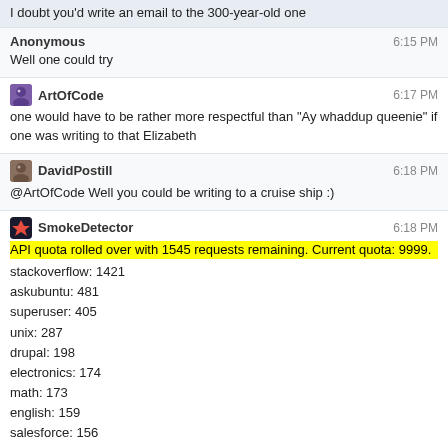I doubt you'd write an email to the 300-year-old one
Anonymous 6:15 PM
Well one could try
ArtOfCode 6:17 PM
one would have to be rather more respectful than "Ay whaddup queenie" if one was writing to that Elizabeth
DavidPostill 6:18 PM
@ArtOfCode Well you could be writing to a cruise ship :)
SmokeDetector 6:18 PM
API quota rolled over with 1545 requests remaining. Current quota: 9999.
stackoverflow: 1421
askubuntu: 481
superuser: 405
unix: 287
drupal: 198
electronics: 174
math: 173
english: 159
salesforce: 156
gis: 145
security: 140
apple: 133
dba: 133
travel: 130
wordpress: 129
mathoverflow.net: 121
magento: 115
worldbuilding: 111
gaming: 105